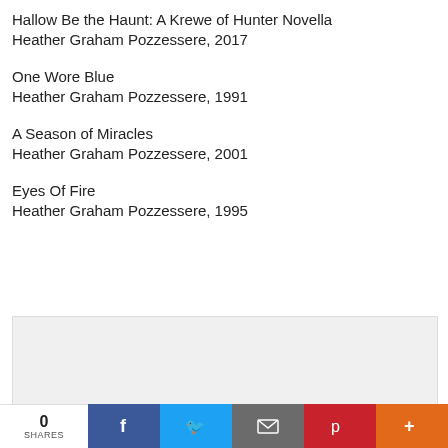Hallow Be the Haunt: A Krewe of Hunter Novella
Heather Graham Pozzessere, 2017
One Wore Blue
Heather Graham Pozzessere, 1991
A Season of Miracles
Heather Graham Pozzessere, 2001
Eyes Of Fire
Heather Graham Pozzessere, 1995
[Figure (other): Advertisement box placeholder]
Recommended for You
Recommended by Outbrain
0
SHARES